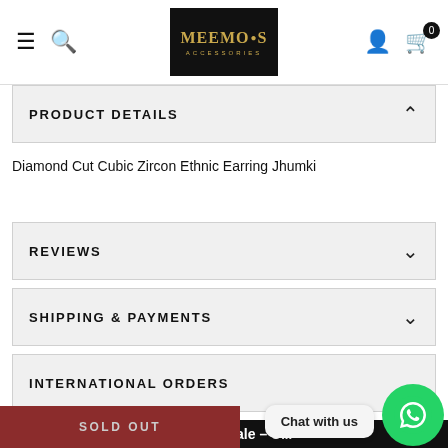MEEMO'S ACCESSORIES
PRODUCT DETAILS
Diamond Cut Cubic Zircon Ethnic Earring Jhumki
REVIEWS
SHIPPING & PAYMENTS
INTERNATIONAL ORDERS
Clearance Sale - U...
SOLD OUT
Chat with us